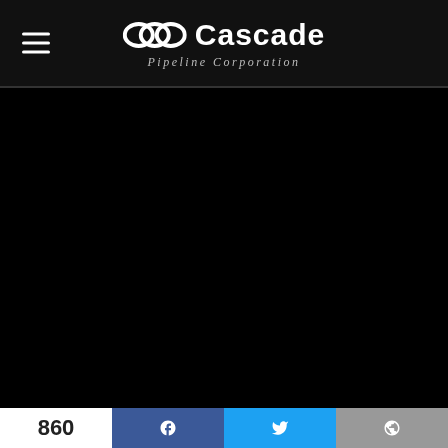Cascade Pipeline Corporation
[Figure (photo): Black main content area, likely a dark background for a website or app page]
860